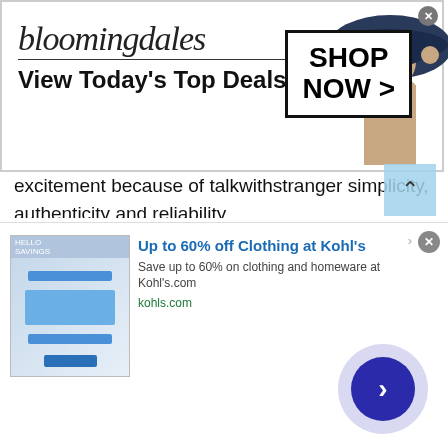[Figure (other): Bloomingdales advertisement banner at top. Shows 'bloomingdales' logo in italic serif font, 'View Today's Top Deals!' text, a fashion model wearing a wide-brimmed hat, and a 'SHOP NOW >' button in a box. Has a close X button.]
excitement because of talkwithstranger simplicity, authenticity and reliability.
So, if you haven't experienced girls chat at TWS then it's time to join this amazing platform and get ready to avail some incredible perks. All you need to grab your smartphone, open the TWS chat site and have a happy conversation with girls online. So, next time you think talking to strangers in Aruba is quite difficult, don't forget to browse the talkwithstranger app. It will help you explore friends or new people in
[Figure (other): Kohl's advertisement banner at bottom. Title: 'Up to 60% off Clothing at Kohl's'. Description: 'Save up to 60% on clothing and homeware at Kohl's.com'. URL: kohls.com. Has a product image thumbnail on the left, a close button, navigation arrow circle button, and an info icon.]